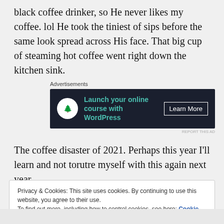black coffee drinker, so He never likes my coffee. lol He took the tiniest of sips before the same look spread across His face. That big cup of steaming hot coffee went right down the kitchen sink.
[Figure (other): Advertisement banner with dark background showing 'Launch your online course with WordPress' with a bonsai tree icon and 'Learn More' button]
The coffee disaster of 2021. Perhaps this year I'll learn and not torutre myself with this again next year.
Privacy & Cookies: This site uses cookies. By continuing to use this website, you agree to their use.
To find out more, including how to control cookies, see here: Cookie Policy